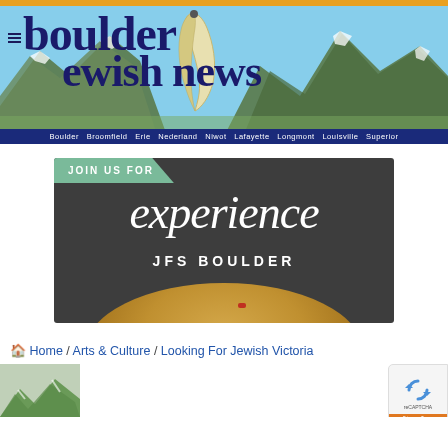[Figure (logo): Boulder Jewish News website header banner with mountain landscape background, shofar illustration, and site title text reading 'boulder Jewish news'. Subtitle row: 'Boulder Broomfield Erie Nederland Niwot Lafayette Longmont Louisville Superior']
[Figure (photo): Advertisement for JFS Boulder reading 'JOIN US FOR experience JFS BOULDER' on dark background with hummus bowl]
Home / Arts & Culture / Looking For Jewish Victoria
[Figure (photo): Partial nature/landscape image at bottom left corner]